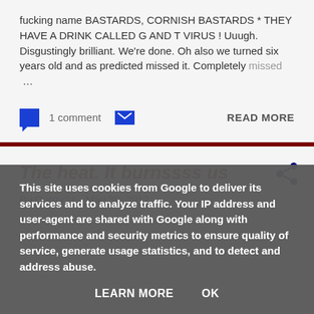fucking name BASTARDS, CORNISH BASTARDS * THEY HAVE A DRINK CALLED G AND T VIRUS ! Uuugh. Disgustingly brilliant. We're done. Oh also we turned six years old and as predicted missed it. Completely missed …
1 comment  READ MORE
The heat. It burnssss us
By Cunzy11 - May 30, 2012
This site uses cookies from Google to deliver its services and to analyze traffic. Your IP address and user-agent are shared with Google along with performance and security metrics to ensure quality of service, generate usage statistics, and to detect and address abuse.
LEARN MORE  OK